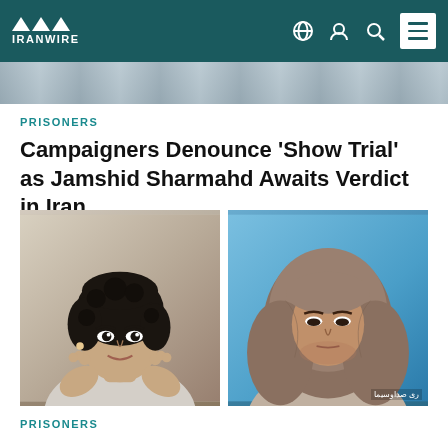IRANWIRE
[Figure (photo): Top partial image strip showing people in background]
PRISONERS
Campaigners Denounce 'Show Trial' as Jamshid Sharmahd Awaits Verdict in Iran
[Figure (photo): Two side-by-side photos: left shows a young woman with short curly dark hair wearing a light sweater; right shows a woman wearing a brown hijab against a blue background with Arabic/Persian watermark text]
PRISONERS